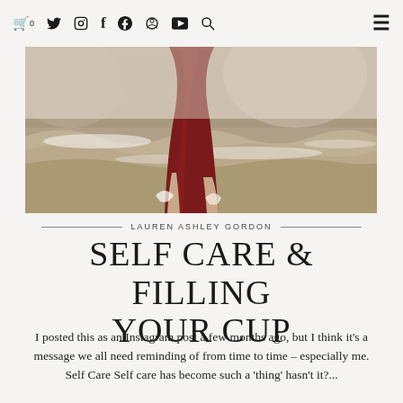🛒0  𝕏  📷  f  𝓟  ▶  🔍  ☰
[Figure (photo): Person in a dark red/maroon dress standing in ocean waves at the beach, lower body visible from the waist down, waves splashing around their feet and legs]
LAUREN ASHLEY GORDON
SELF CARE & FILLING YOUR CUP
I posted this as an Instagram post a few months ago, but I think it's a message we all need reminding of from time to time – especially me. Self Care Self care has become such a 'thing' hasn't it?...